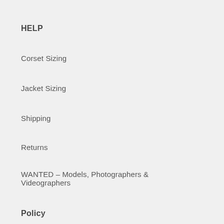HELP
Corset Sizing
Jacket Sizing
Shipping
Returns
WANTED – Models, Photographers & Videographers
Policy